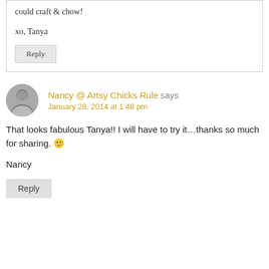could craft & chow!
xo, Tanya
Reply
Nancy @ Artsy Chicks Rule says
January 28, 2014 at 1:48 pm
That looks fabulous Tanya!! I will have to try it...thanks so much for sharing. 🙂
Nancy
Reply